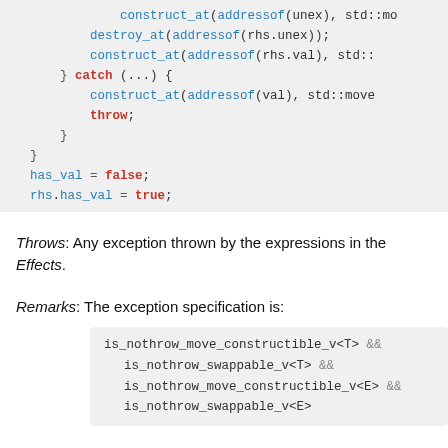construct_at(addressof(unex), std::mo
        destroy_at(addressof(rhs.unex));
        construct_at(addressof(rhs.val), std::
    } catch (...) {
        construct_at(addressof(val), std::move
        throw;
    }
}
has_val = false;
rhs.has_val = true;
Throws: Any exception thrown by the expressions in the Effects.
Remarks: The exception specification is:
is_nothrow_move_constructible_v<T> &&
    is_nothrow_swappable_v<T> &&
    is_nothrow_move_constructible_v<E> &&
    is_nothrow_swappable_v<E>